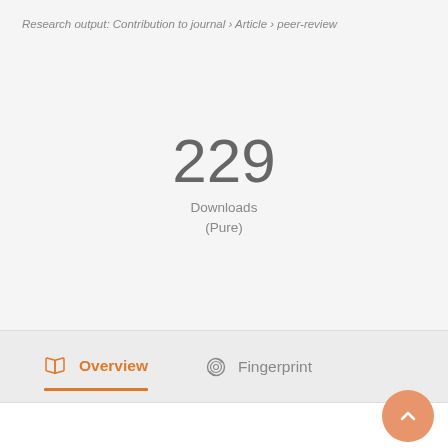Research output: Contribution to journal › Article › peer-review
229
Downloads
(Pure)
Overview   Fingerprint
Abstract